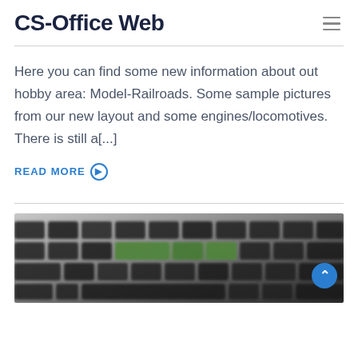CS-Office Web
Here you can find some new information about out hobby area: Model-Railroads. Some sample pictures from our new layout and some engines/locomotives. There is still a[...]
READ MORE ⊙
[Figure (photo): Blurred photo of electronics/keyboard components, dark tones with green circuit board visible]